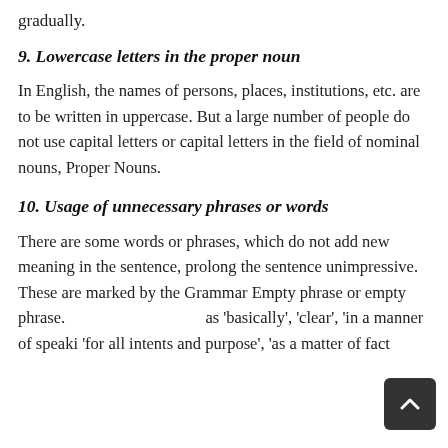gradually.
9. Lowercase letters in the proper noun
In English, the names of persons, places, institutions, etc. are to be written in uppercase. But a large number of people do not use capital letters or capital letters in the field of nominal nouns, Proper Nouns.
10. Usage of unnecessary phrases or words
There are some words or phrases, which do not add new meaning in the sentence, prolong the sentence unimpressive. These are marked by the Grammar Empty phrase or empty phrase. as 'basically', 'clear', 'in a manner of speaki 'for all intents and purpose', 'as a matter of fact